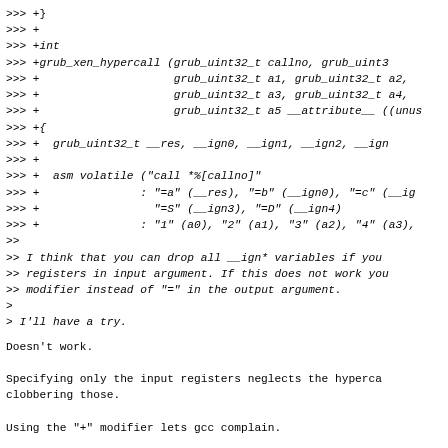>>> +}
>>> +
>>> +int
>>> +grub_xen_hypercall (grub_uint32_t callno, grub_uint3
>>> +                    grub_uint32_t a1, grub_uint32_t a2,
>>> +                    grub_uint32_t a3, grub_uint32_t a4,
>>> +                    grub_uint32_t a5 __attribute__ ((unus
>>> +{
>>> +  grub_uint32_t __res, __ign0, __ign1, __ign2, __ign
>>> +
>>> +  asm volatile ("call *%[callno]"
>>> +               : "=a" (__res), "=b" (__ign0), "=c" (__ig
>>> +                 "=S" (__ign3), "=D" (__ign4)
>>> +               : "1" (a0), "2" (a1), "3" (a2), "4" (a3),
>>
>> I think that you can drop all __ign* variables if you
>> registers in input argument. If this does not work you
>> modifier instead of "=" in the output argument.
>
> I'll have a try.

Doesn't work.

Specifying only the input registers neglects the hyperca
clobbering those.

Using the "+" modifier lets gcc complain.

I'll just use a single dummy variable.
Doesn't work.
Specifying only the input registers neglects the hypercall clobbering those.
Using the "+" modifier lets gcc complain.
I'll just use a single dummy variable.